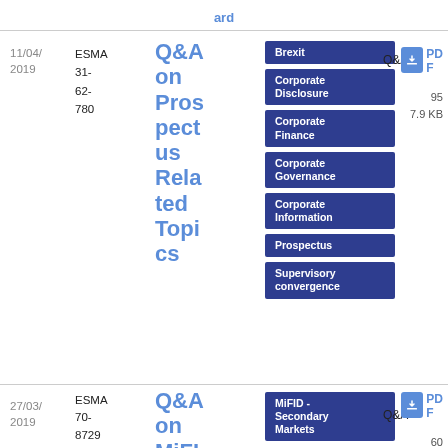ard
11/04/
2019
ESMA 31-62-780
Q&A on Prospectus Related Topics
Brexit
Corporate Disclosure
Corporate Finance
Corporate Governance
Corporate Information
Prospectus
Supervisory convergence
Q&A
PDF
95
7.9 KB
27/03/
2019
ESMA 70-87294290 1-36
Q&A on MiFID II and
MiFID - Secondary Markets
Q&A
PDF
60
2.38 KB